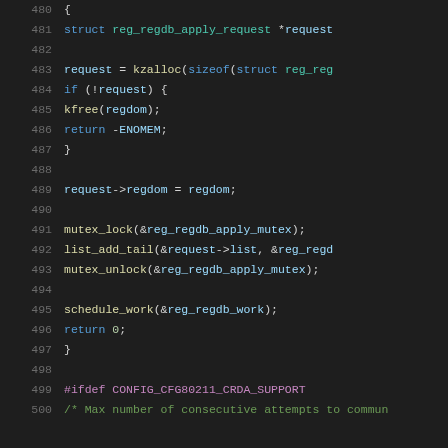Source code snippet, lines 480-500, C kernel code showing reg_regdb_apply_request function body
480: {
481:     struct reg_regdb_apply_request *request
482: (empty)
483:     request = kzalloc(sizeof(struct reg_reg
484:     if (!request) {
485:         kfree(regdom);
486:         return -ENOMEM;
487:     }
488: (empty)
489:     request->regdom = regdom;
490: (empty)
491:     mutex_lock(&reg_regdb_apply_mutex);
492:     list_add_tail(&request->list, &reg_regd
493:     mutex_unlock(&reg_regdb_apply_mutex);
494: (empty)
495:     schedule_work(&reg_regdb_work);
496:     return 0;
497: }
498: (empty)
499: #ifdef CONFIG_CFG80211_CRDA_SUPPORT
500: /* Max number of consecutive attempts to commun